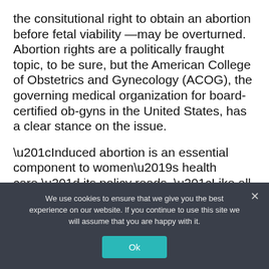the consitutional right to obtain an abortion before fetal viability —may be overturned. Abortion rights are a politically fraught topic, to be sure, but the American College of Obstetrics and Gynecology (ACOG), the governing medical organization for board-certified ob-gyns in the United States, has a clear stance on the issue.
“Induced abortion is an essential component to women’s health care,” its policy reads. “Like all medical matters, decisions regarding abortion should be made by
We use cookies to ensure that we give you the best experience on our website. If you continue to use this site we will assume that you are happy with it.